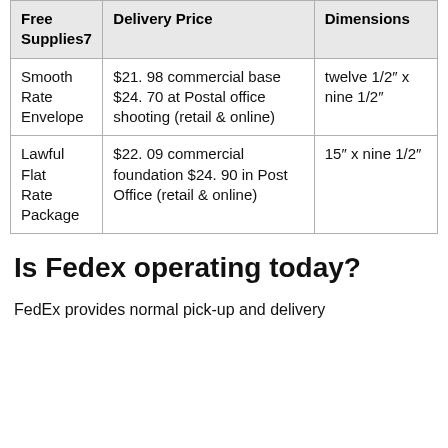| Free Supplies7 | Delivery Price | Dimensions |
| --- | --- | --- |
| Smooth Rate Envelope | $21. 98 commercial base $24. 70 at Postal office shooting (retail & online) | twelve 1/2″ x nine 1/2″ |
| Lawful Flat Rate Package | $22. 09 commercial foundation $24. 90 in Post Office (retail & online) | 15″ x nine 1/2″ |
Is Fedex operating today?
FedEx provides normal pick-up and delivery